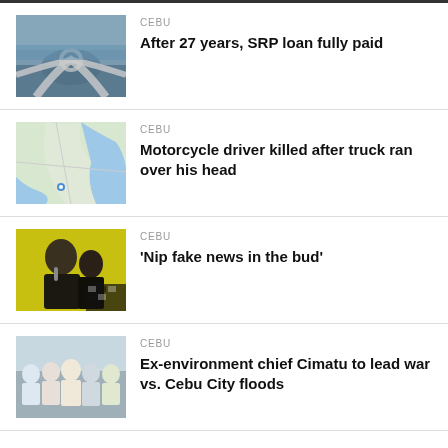[Figure (photo): Aerial view of a road interchange near the sea]
CEBU
After 27 years, SRP loan fully paid
[Figure (map): Map showing a coastal area, likely Cebu]
CEBU
Motorcycle driver killed after truck ran over his head
[Figure (photo): Person speaking at a press conference with yellow background]
CEBU
'Nip fake news in the bud'
[Figure (photo): Group of people at an outdoor event]
CEBU
Ex-environment chief Cimatu to lead war vs. Cebu City floods